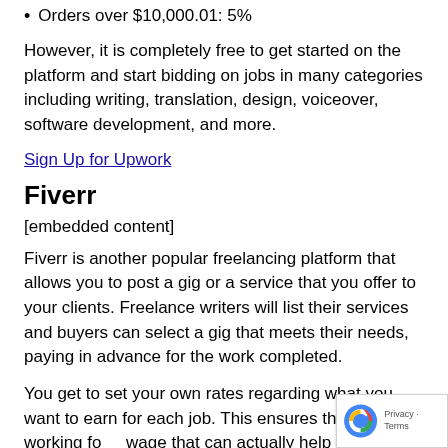Orders over $10,000.01: 5%
However, it is completely free to get started on the platform and start bidding on jobs in many categories including writing, translation, design, voiceover, software development, and more.
Sign Up for Upwork
Fiverr
[embedded content]
Fiverr is another popular freelancing platform that allows you to post a gig or a service that you offer to your clients. Freelance writers will list their services and buyers can select a gig that meets their needs, paying in advance for the work completed.
You get to set your own rates regarding what you want to earn for each job. This ensures that you are working for a wage that can actually help you to pay your bills or save up